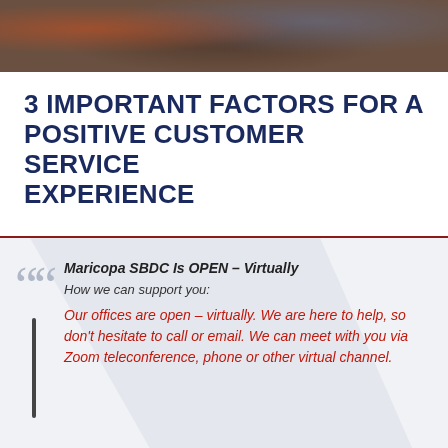[Figure (photo): Photo strip at top showing people in an office or customer service setting, partially cropped]
3 IMPORTANT FACTORS FOR A POSITIVE CUSTOMER SERVICE EXPERIENCE
Maricopa SBDC Is OPEN – Virtually
How we can support you:
Our offices are open – virtually.  We are here to help, so don't hesitate to call or email.  We can meet with you via Zoom teleconference, phone or other virtual channel.